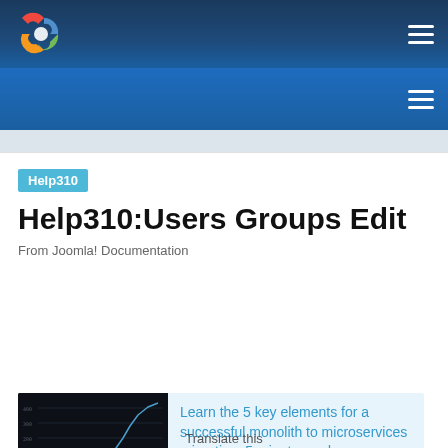[Figure (logo): Joomla logo in top navigation bar]
Help310
Help310:Users Groups Edit
From Joomla! Documentation
[Figure (screenshot): Dark-themed line chart showing growth trend (monolith to microservices migration advertisement image)]
Learn the 5 key elements for a successful monolith to microservices migration. 5 minute read.
ads via Carbon
Translate this